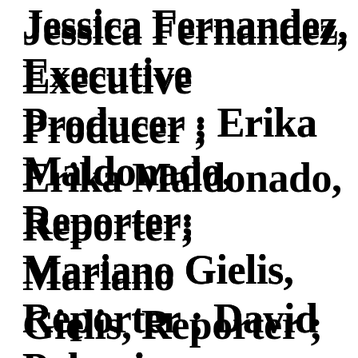Jessica Fernandez, Executive Producer ; Erika Maldonado, Reporter; Mariano Gielis, Reporter ; David Palomino, Reporter ; Manuela Urueña, Reporter; Feli...